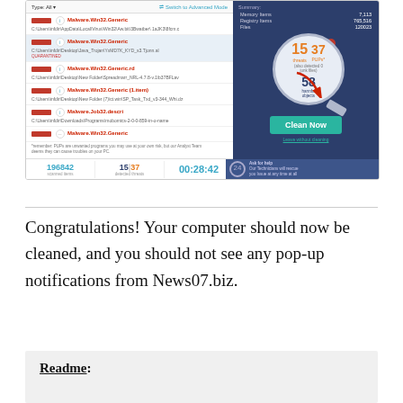[Figure (screenshot): Malwarebytes scan results screenshot showing detected threats including Malware.Win32.Generic and other threats, with a magnifier showing 15 threats and 37 PUPs, 58 harmful objects, and a green 'Clean Now' button. Bottom bar shows 196842 scanned items, 15|37 detected threats, 00:28:42 timer.]
Congratulations! Your computer should now be cleaned, and you should not see any pop-up notifications from News07.biz.
Readme: